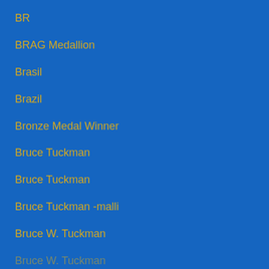BR
BRAG Medallion
Brasil
Brazil
Bronze Medal Winner
Bruce Tuckman
Bruce Tuckman
Bruce Tuckman -malli
Bruce W. Tuckman
Bruce Wayne Tuckman